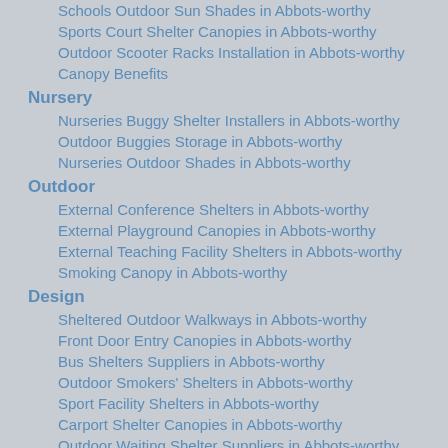Schools Outdoor Sun Shades in Abbots-worthy
Sports Court Shelter Canopies in Abbots-worthy
Outdoor Scooter Racks Installation in Abbots-worthy
Canopy Benefits
Nursery
Nurseries Buggy Shelter Installers in Abbots-worthy
Outdoor Buggies Storage in Abbots-worthy
Nurseries Outdoor Shades in Abbots-worthy
Outdoor
External Conference Shelters in Abbots-worthy
External Playground Canopies in Abbots-worthy
External Teaching Facility Shelters in Abbots-worthy
Smoking Canopy in Abbots-worthy
Design
Sheltered Outdoor Walkways in Abbots-worthy
Front Door Entry Canopies in Abbots-worthy
Bus Shelters Suppliers in Abbots-worthy
Outdoor Smokers' Shelters in Abbots-worthy
Sport Facility Shelters in Abbots-worthy
Carport Shelter Canopies in Abbots-worthy
Outdoor Waiting Shelter Suppliers in Abbots-worthy
Industrial Canopy Suppliers in Abbots-worthy